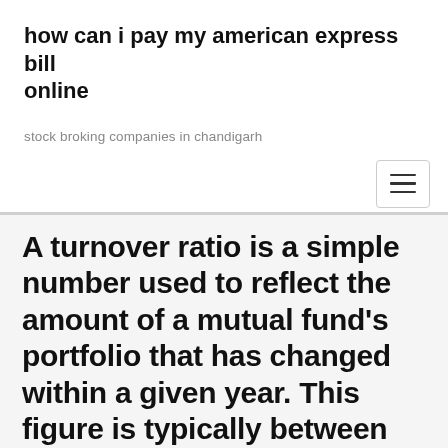how can i pay my american express bill online
stock broking companies in chandigarh
A turnover ratio is a simple number used to reflect the amount of a mutual fund's portfolio that has changed within a given year. This figure is typically between 0% and 100%, but can be even